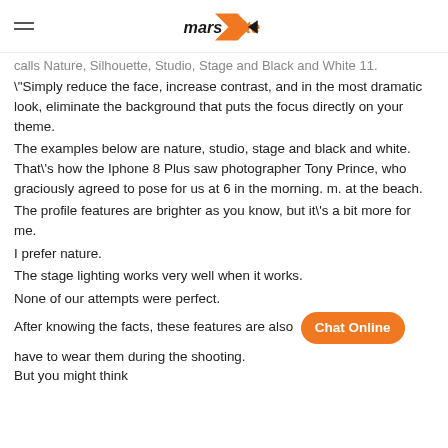marslite
calls Nature, Silhouette, Studio, Stage and Black and White 11.
"Simply reduce the face, increase contrast, and in the most dramatic look, eliminate the background that puts the focus directly on your theme.
The examples below are nature, studio, stage and black and white. That\'s how the Iphone 8 Plus saw photographer Tony Prince, who graciously agreed to pose for us at 6 in the morning. m. at the beach.
The profile features are brighter as you know, but it\'s a bit more for me.
I prefer nature.
The stage lighting works very well when it works.
None of our attempts were perfect.
After knowing the facts, these features are also available you don\'t have to wear them during the shooting.
But you might think